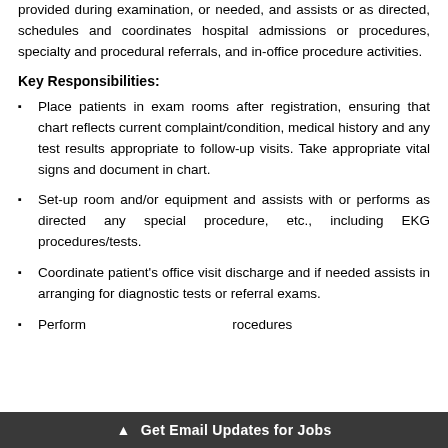provided during examination, or needed, and assists or as directed, schedules and coordinates hospital admissions or procedures, specialty and procedural referrals, and in-office procedure activities.
Key Responsibilities:
Place patients in exam rooms after registration, ensuring that chart reflects current complaint/condition, medical history and any test results appropriate to follow-up visits. Take appropriate vital signs and document in chart.
Set-up room and/or equipment and assists with or performs as directed any special procedure, etc., including EKG procedures/tests.
Coordinate patient's office visit discharge and if needed assists in arranging for diagnostic tests or referral exams.
Perform … procedures …